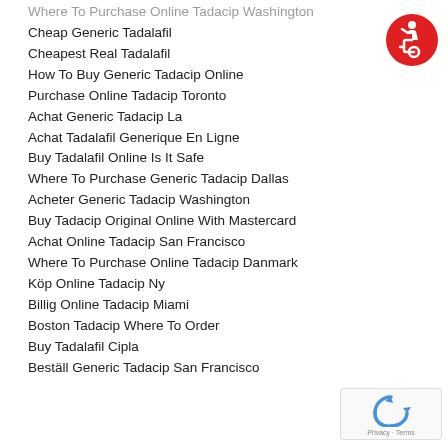Where To Purchase Online Tadacip Washington
Cheap Generic Tadalafil
Cheapest Real Tadalafil
How To Buy Generic Tadacip Online
Purchase Online Tadacip Toronto
Achat Generic Tadacip La
Achat Tadalafil Generique En Ligne
Buy Tadalafil Online Is It Safe
Where To Purchase Generic Tadacip Dallas
Acheter Generic Tadacip Washington
Buy Tadacip Original Online With Mastercard
Achat Online Tadacip San Francisco
Where To Purchase Online Tadacip Danmark
Köp Online Tadacip Ny
Billig Online Tadacip Miami
Boston Tadacip Where To Order
Buy Tadalafil Cipla
Beställ Generic Tadacip San Francisco
[Figure (logo): Red circular accessibility icon with white wheelchair user symbol]
[Figure (logo): Google reCAPTCHA badge with Privacy and Terms text]